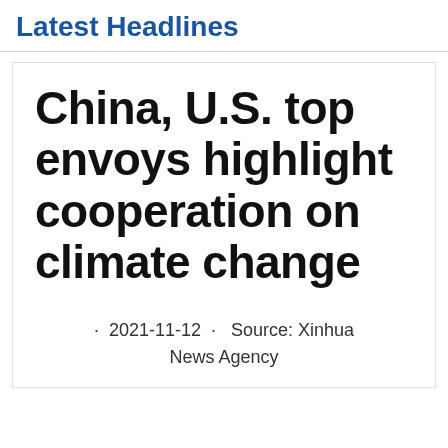Latest Headlines
China, U.S. top envoys highlight cooperation on climate change
· 2021-11-12 · Source: Xinhua News Agency